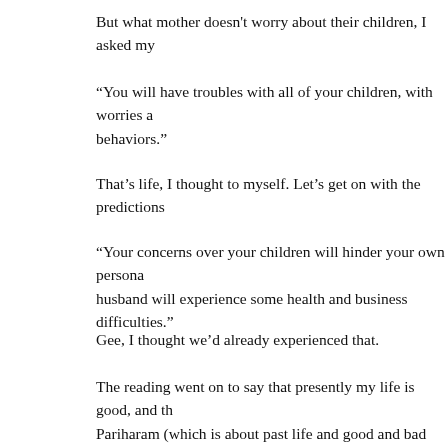But what mother doesn't worry about their children, I asked my
“You will have troubles with all of your children, with worries a behaviors.”
That’s life, I thought to myself. Let’s get on with the predictions
“Your concerns over your children will hinder your own persona husband will experience some health and business difficulties.”
Gee, I thought we’d already experienced that.
The reading went on to say that presently my life is good, and th Pariharam (which is about past life and good and bad deeds) an instructions, the effect of the past bad deeds would be diluted.
As they continued, I was told that Alison would successfully co her MBA) and that Chet, at the age of 53, would take time off fr